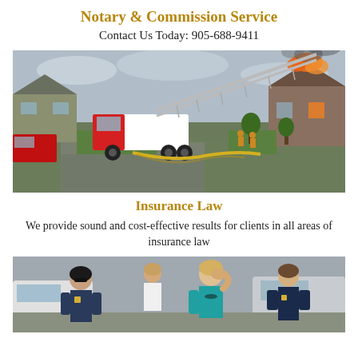Notary & Commission Service
Contact Us Today: 905-688-9411
[Figure (photo): Fire truck with extended ladder fighting a house fire in a suburban neighborhood. Hoses on wet street, smoke rising from burning house on right.]
Insurance Law
We provide sound and cost-effective results for clients in all areas of insurance law
[Figure (photo): A distressed woman in a teal top holding her hand to her forehead, with a police officer/emergency responder speaking to her. Other people and vehicles visible in background after what appears to be a car accident.]